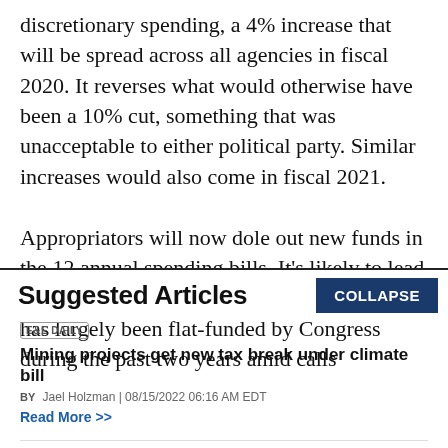discretionary spending, a 4% increase that will be spread across all agencies in fiscal 2020. It reverses what would otherwise have been a 10% cut, something that was unacceptable to either political party. Similar increases would also come in fiscal 2021.

Appropriators will now dole out new funds in the 12 annual spending bills. It’s likely to lead to at least a modest increase for EPA, which has largely been flat-funded by Congress during the past two years amid calls
Suggested Articles
COLLAPSE
E&E DAILY
Mining projects get new tax break under climate bill
BY Jael Holzman | 08/15/2022 06:16 AM EDT
Read More >>
E&E DAILY
'A lot more to do': Lawmakers eye additional climate action